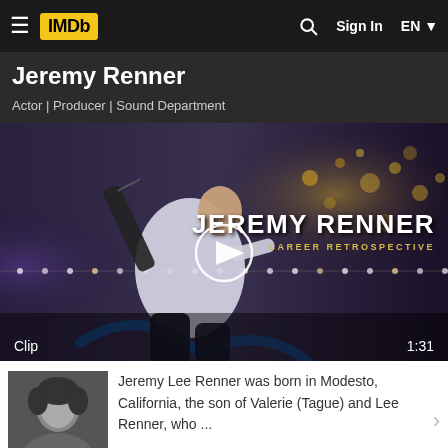IMDb — Sign In — EN
Jeremy Renner
Actor | Producer | Sound Department
[Figure (screenshot): Video thumbnail showing Jeremy Renner as Hawkeye/archer in action pose with bow, text overlay JEREMY RENNER CAREER RETROSPECTIVE, play button in center, duration 1:31, labeled Clip]
Jeremy Lee Renner was born in Modesto, California, the son of Valerie (Tague) and Lee Renner, who ...